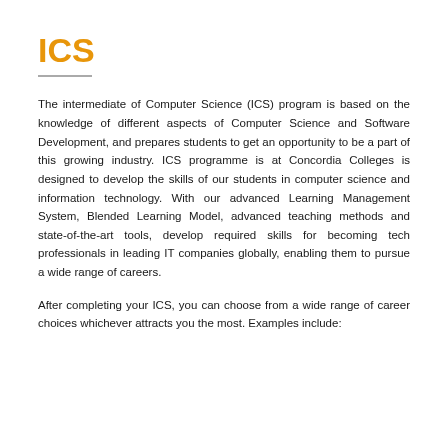ICS
The intermediate of Computer Science (ICS) program is based on the knowledge of different aspects of Computer Science and Software Development, and prepares students to get an opportunity to be a part of this growing industry. ICS programme is at Concordia Colleges is designed to develop the skills of our students in computer science and information technology. With our advanced Learning Management System, Blended Learning Model, advanced teaching methods and state-of-the-art tools, develop required skills for becoming tech professionals in leading IT companies globally, enabling them to pursue a wide range of careers.
After completing your ICS, you can choose from a wide range of career choices whichever attracts you the most. Examples include: